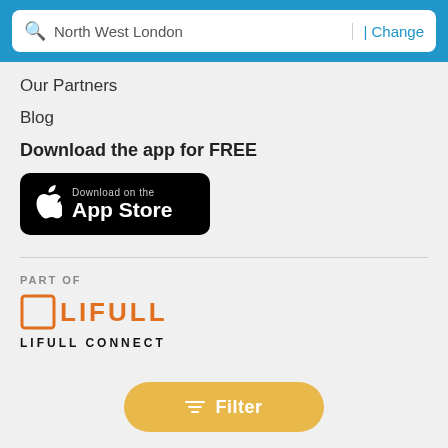[Figure (screenshot): Search bar with text 'North West London' and 'Change' link on blue background]
Our Partners
Blog
Download the app for FREE
[Figure (logo): Download on the App Store button (black rounded rectangle with Apple logo)]
[Figure (logo): PART OF LIFULL CONNECT logo with orange bracket icon and orange LIFULL text]
Filter